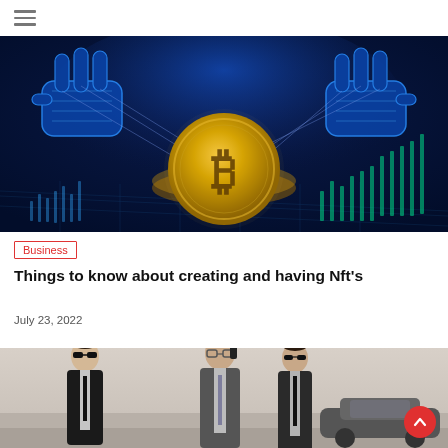☰
[Figure (photo): Glowing blue holographic robot hands manipulating a large golden Bitcoin coin against a dark digital background with candlestick chart elements]
Business
Things to know about creating and having Nft's
July 23, 2022
[Figure (photo): Three men in dark suits standing outdoors, one speaking on a phone, with a car in the background — businessmen or security personnel]